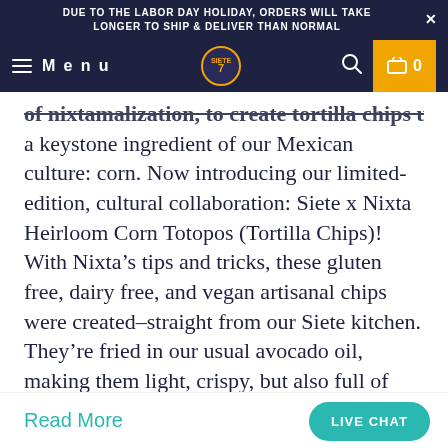DUE TO THE LABOR DAY HOLIDAY, ORDERS WILL TAKE LONGER TO SHIP & DELIVER THAN NORMAL
Menu [logo] [search] [cart: 0]
of nixtamalization, to create tortilla chips using a keystone ingredient of our Mexican culture: corn. Now introducing our limited-edition, cultural collaboration: Siete x Nixta Heirloom Corn Totopos (Tortilla Chips)! With Nixta’s tips and tricks, these gluten free, dairy free, and vegan artisanal chips were created–straight from our Siete kitchen. They’re fried in our usual avocado oil, making them light, crispy, but also full of great flavor from the nixtamalization process!
Read More
LIVE CHAT